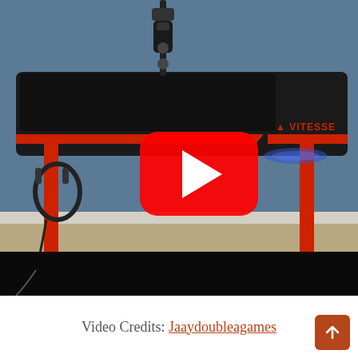[Figure (photo): A gaming desk with a black top surface featuring red accents and a Vitesse logo. The desk has red metal T-shaped legs. Headphones hang from the left leg. A microphone arm is mounted on the desk top. Blue LED lighting is visible under the right side of the desk. The background is a blue-grey wall. A YouTube play button overlay is centered on the image. The bottom portion of the video player area is black.]
Video Credits: Jaaydoubleagames